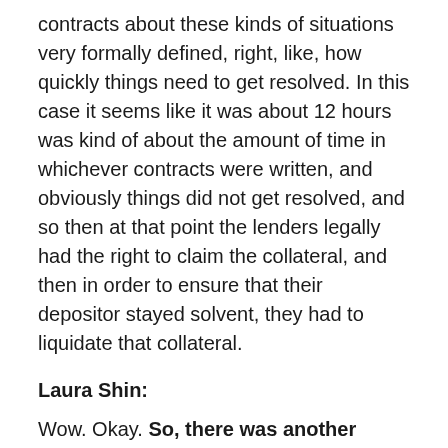contracts about these kinds of situations very formally defined, right, like, how quickly things need to get resolved. In this case it seems like it was about 12 hours was kind of about the amount of time in whichever contracts were written, and obviously things did not get resolved, and so then at that point the lenders legally had the right to claim the collateral, and then in order to ensure that their depositor stayed solvent, they had to liquidate that collateral.
Laura Shin:
Wow. Okay. So, there was another thing here, and I was trying to...there was a lot of speculation about this online, but basically, so there was one point where...so, in your blog post you said that there were only 20 million dollars' worth of bids left on the entire BitMEX order book, and over 200 million dollars in long positions that needed to be liquidated, and...